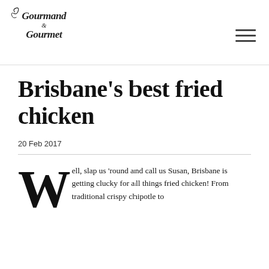Gourmand & Gourmet [logo] [menu icon]
Brisbane's best fried chicken
20 Feb 2017
Well, slap us 'round and call us Susan, Brisbane is getting clucky for all things fried chicken! From traditional crispy chipotle to